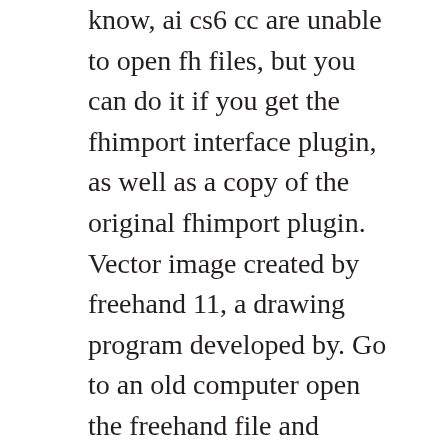know, ai cs6 cc are unable to open fh files, but you can do it if you get the fhimport interface plugin, as well as a copy of the original fhimport plugin. Vector image created by freehand 11, a drawing program developed by. Go to an old computer open the freehand file and export as illustrator 7. It works but things are moved and i need hours to put everything in order.
The freehand software was created by altsys in 1988. Open freehand files in illustrator cs6, cc and 2014 youtube. Now, june 2017 i do not know the reason with the illustrator cc 4...